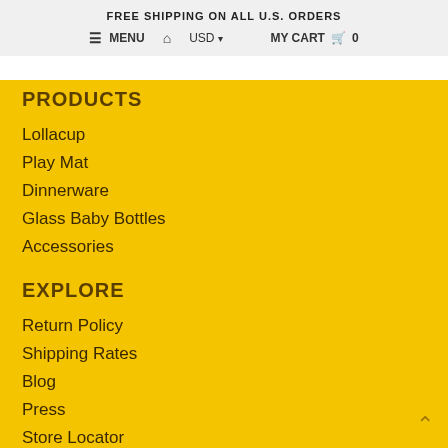FREE SHIPPING ON ALL U.S. ORDERS
≡ MENU  🏠  USD ▾  MY CART 🛒 0
PRODUCTS
Lollacup
Play Mat
Dinnerware
Glass Baby Bottles
Accessories
EXPLORE
Return Policy
Shipping Rates
Blog
Press
Store Locator
Wholesale